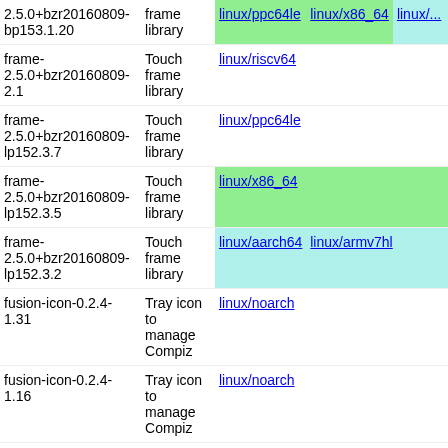| Package | Description | linux/ppc64le | linux/x86_64 | linux/... |
| --- | --- | --- | --- | --- |
| 2.5.0+bzr20160809-bp153.1.20 | frame library | linux/ppc64le | linux/x86_64 | linux/... |
| frame-2.5.0+bzr20160809-2.1 | Touch frame library | linux/riscv64 |  |  |
| frame-2.5.0+bzr20160809-lp152.3.7 | Touch frame library | linux/ppc64le |  |  |
| frame-2.5.0+bzr20160809-lp152.3.5 | Touch frame library | linux/x86_64 |  |  |
| frame-2.5.0+bzr20160809-lp152.3.2 | Touch frame library | linux/aarch64 | linux/armv7hl |  |
| fusion-icon-0.2.4-1.31 | Tray icon to manage Compiz | linux/noarch |  |  |
| fusion-icon-0.2.4-1.16 | Tray icon to manage Compiz | linux/noarch |  |  |
| fusion-icon-0.2.4-bp154.1.27 | Tray icon to manage Compiz | linux/noarch |  |  |
|  | Tray icon to ... |  |  |  |